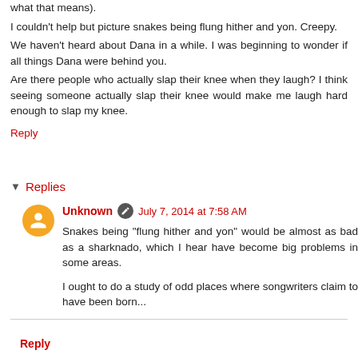what that means).
I couldn't help but picture snakes being flung hither and yon. Creepy.
We haven't heard about Dana in a while. I was beginning to wonder if all things Dana were behind you.
Are there people who actually slap their knee when they laugh? I think seeing someone actually slap their knee would make me laugh hard enough to slap my knee.
Reply
Replies
Unknown  July 7, 2014 at 7:58 AM
Snakes being "flung hither and yon" would be almost as bad as a sharknado, which I hear have become big problems in some areas.

I ought to do a study of odd places where songwriters claim to have been born...
Reply